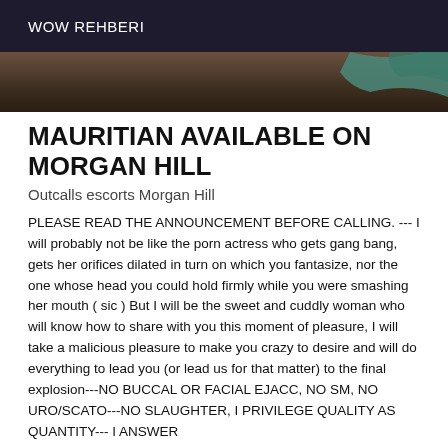WOW REHBERI
[Figure (photo): Partial photo showing a dark background with a teal/green decorative element in the upper right area]
MAURITIAN AVAILABLE ON MORGAN HILL
Outcalls escorts Morgan Hill
PLEASE READ THE ANNOUNCEMENT BEFORE CALLING. --- I will probably not be like the porn actress who gets gang bang, gets her orifices dilated in turn on which you fantasize, nor the one whose head you could hold firmly while you were smashing her mouth ( sic ) But I will be the sweet and cuddly woman who will know how to share with you this moment of pleasure, I will take a malicious pleasure to make you crazy to desire and will do everything to lead you (or lead us for that matter) to the final explosion---NO BUCCAL OR FACIAL EJACC, NO SM, NO URO/SCATO---NO SLAUGHTER, I PRIVILEGE QUALITY AS QUANTITY--- I ANSWER